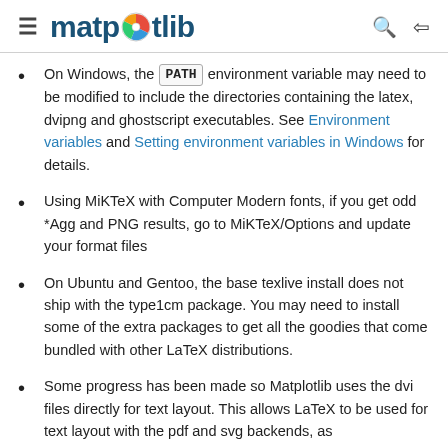matplotlib
On Windows, the PATH environment variable may need to be modified to include the directories containing the latex, dvipng and ghostscript executables. See Environment variables and Setting environment variables in Windows for details.
Using MiKTeX with Computer Modern fonts, if you get odd *Agg and PNG results, go to MiKTeX/Options and update your format files
On Ubuntu and Gentoo, the base texlive install does not ship with the type1cm package. You may need to install some of the extra packages to get all the goodies that come bundled with other LaTeX distributions.
Some progress has been made so Matplotlib uses the dvi files directly for text layout. This allows LaTeX to be used for text layout with the pdf and svg backends, as